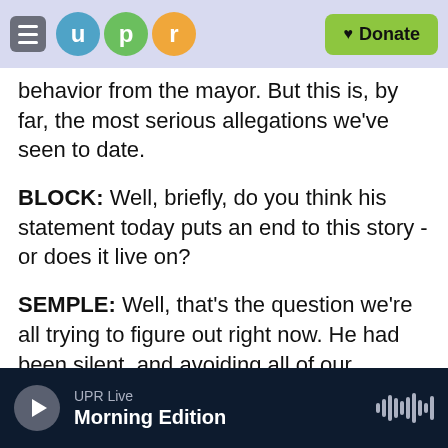UPR logo header with Donate button
behavior from the mayor. But this is, by far, the most serious allegations we've seen to date.
BLOCK: Well, briefly, do you think his statement today puts an end to this story - or does it live on?
SEMPLE: Well, that's the question we're all trying to figure out right now. He had been silent, and avoiding all of our microphones, for the past week. Now today, he explained that was based on his legal advice. His lawyer had told him not to say anything. But one would think, of course, that he'd have a lot harder time explaining this video if the video was obviously released to the public and
UPR Live — Morning Edition